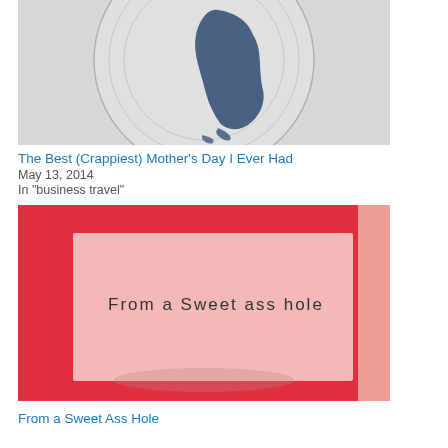[Figure (photo): Close-up photo of a globe illustration on light gray background, showing South America in dark blue/navy]
The Best (Crappiest) Mother’s Day I Ever Had
May 13, 2014
In "business travel"
[Figure (photo): Photo of a pink card/envelope on red background with handwritten text reading 'From a Sweet ass hole']
From a Sweet Ass Hole